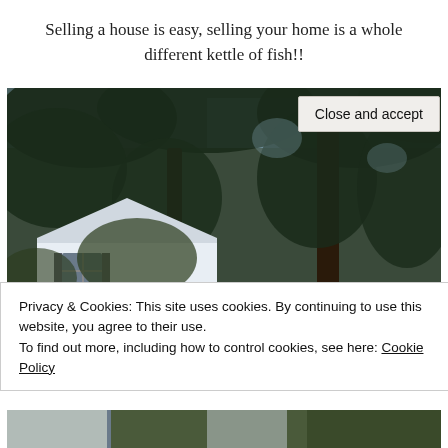Selling a house is easy, selling your home is a whole different kettle of fish!!
[Figure (photo): Outdoor photo of a white house with dark shutters partially visible behind large mature trees with dense green foliage, taken from below looking up.]
Privacy & Cookies: This site uses cookies. By continuing to use this website, you agree to their use.
To find out more, including how to control cookies, see here: Cookie Policy
Close and accept
[Figure (photo): Bottom strip showing partial view of exterior house photo.]